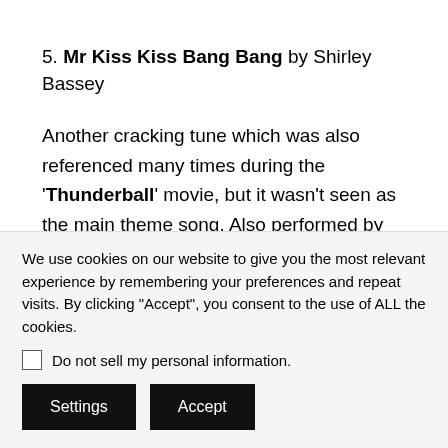5. Mr Kiss Kiss Bang Bang by Shirley Bassey
Another cracking tune which was also referenced many times during the 'Thunderball' movie, but it wasn't seen as the main theme song. Also performed by Dionne Warwick, this version by Shirley Bassey sees her returning to what she does best, but which do people
We use cookies on our website to give you the most relevant experience by remembering your preferences and repeat visits. By clicking "Accept", you consent to the use of ALL the cookies.
Do not sell my personal information.